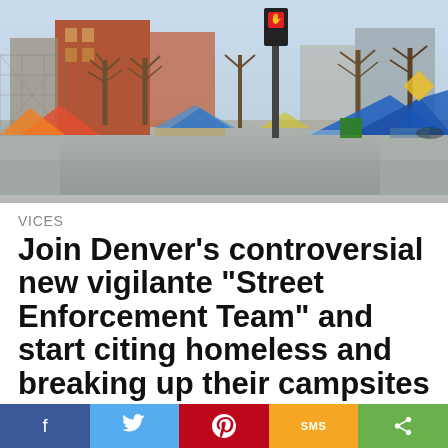[Figure (photo): Street scene showing a homeless encampment with colorful tents along a city road, bare winter trees, brick buildings in the background, and a traffic signal pole with a red hand signal.]
VICES
Join Denver's controversial new vigilante "Street Enforcement Team" and start citing homeless and breaking up their campsites
[Figure (infographic): Social media sharing bar with five buttons: Facebook (blue), Twitter (light blue), Pinterest (red), SMS (orange/yellow), and Share (green)]